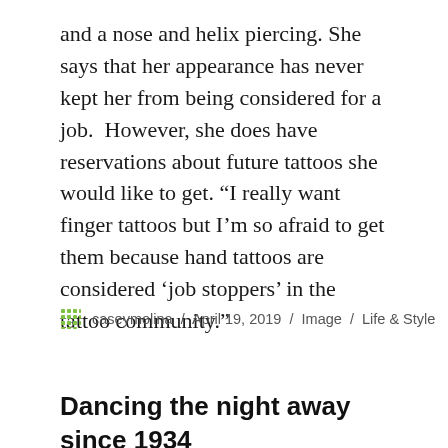and a nose and helix piercing. She says that her appearance has never kept her from being considered for a job.  However, she does have reservations about future tattoos she would like to get. “I really want finger tattoos but I’m so afraid to get them because hand tattoos are considered ‘job stoppers’ in the tattoo community.”
caseymolina / April 19, 2019 / Image / Life & Style
Dancing the night away since 1934